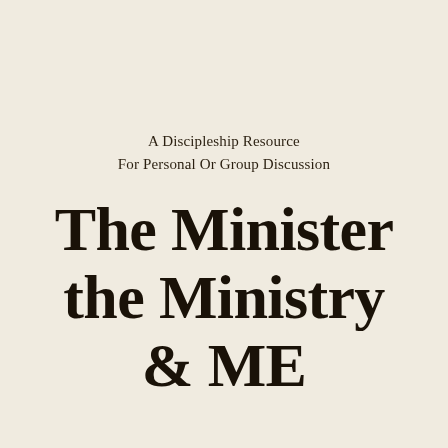A Discipleship Resource
For Personal Or Group Discussion
The Minister the Ministry & ME